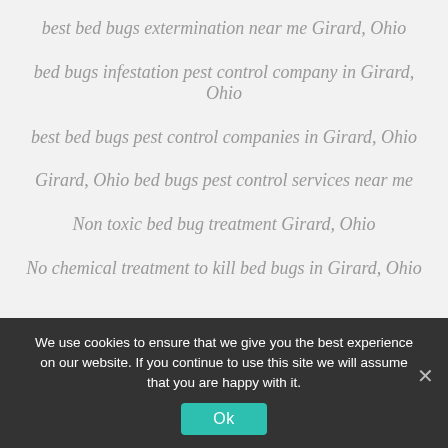best bed bugs extermination near me Girard, Ohio
bed bugs infestation pest control company in Girard, Ohio
best bed bugs pest control companies in Girard, Ohio
Girard, Ohio bed bugs pest control services near me
Non toxic bed bug treatment Girard, Ohio
No chemical treatment to kill bed bugs in Girard, Ohio
We use cookies to ensure that we give you the best experience on our website. If you continue to use this site we will assume that you are happy with it.